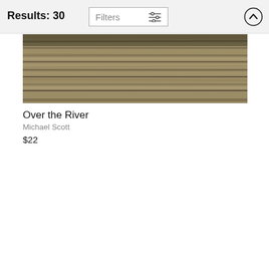Results: 30
Filters
[Figure (photo): Wood plank texture image — horizontal grain, brown and grey tones]
Over the River
Michael Scott
$22